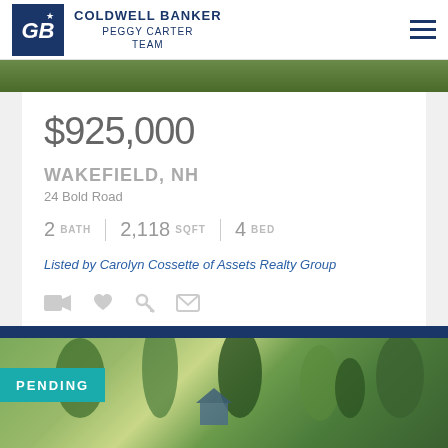COLDWELL BANKER PEGGY CARTER TEAM
$925,000
WAKEFIELD, NH
24 Bold Road
2 BATH | 2,118 SQFT | 4 BED
Listed by Carolyn Cossette of Assets Realty Group
[Figure (other): Action icons row: video, favorite, key, envelope]
[Figure (photo): Nature/forest photo strip at top of listing card]
PENDING